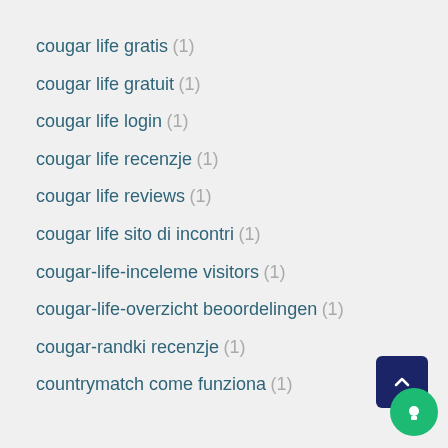cougar life gratis (1)
cougar life gratuit (1)
cougar life login (1)
cougar life recenzje (1)
cougar life reviews (1)
cougar life sito di incontri (1)
cougar-life-inceleme visitors (1)
cougar-life-overzicht beoordelingen (1)
cougar-randki recenzje (1)
countrymatch come funziona (1)